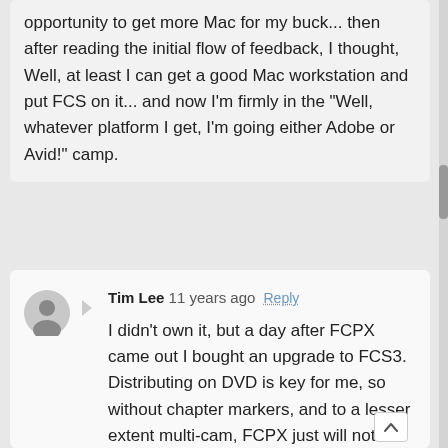opportunity to get more Mac for my buck... then after reading the initial flow of feedback, I thought, Well, at least I can get a good Mac workstation and put FCS on it... and now I'm firmly in the "Well, whatever platform I get, I'm going either Adobe or Avid!" camp.
Tim Lee 11 years ago Reply
I didn't own it, but a day after FCPX came out I bought an upgrade to FCS3. Distributing on DVD is key for me, so without chapter markers, and to a lesser extent multi-cam, FCPX just will not work.
I so wish Apple had updated DVD Studio